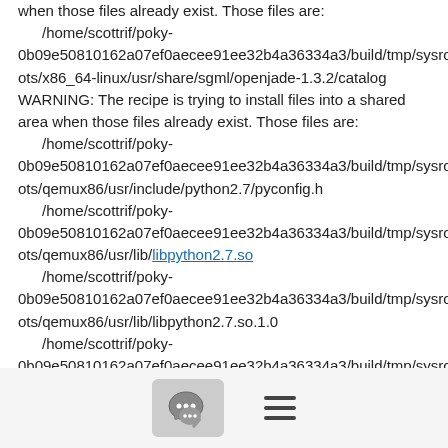when those files already exist. Those files are:
    /home/scottrif/poky-0b09e50810162a07ef0aecee91ee32b4a36334a3/build/tmp/sysroots/x86_64-linux/usr/share/sgml/openjade-1.3.2/catalog
WARNING: The recipe is trying to install files into a shared area when those files already exist. Those files are:
    /home/scottrif/poky-0b09e50810162a07ef0aecee91ee32b4a36334a3/build/tmp/sysroots/qemux86/usr/include/python2.7/pyconfig.h
    /home/scottrif/poky-0b09e50810162a07ef0aecee91ee32b4a36334a3/build/tmp/sysroots/qemux86/usr/lib/libpython2.7.so
    /home/scottrif/poky-0b09e50810162a07ef0aecee91ee32b4a36334a3/build/tmp/sysroots/qemux86/usr/lib/libpython2.7.so.1.0
    /home/scottrif/poky-0b09e50810162a07ef0aecee91ee32b4a36334a3/build/tmp/sysroots/qemux86/usr/lib/python2.7/config/Makefile
WARNING: Failed to fetch URL
git://git.yoctoproject.org/libxml-autotools-git, attempting MIRRORS
[Figure (other): Bottom navigation bar with a chat/comment button (speech bubble icon) and a hamburger menu icon]